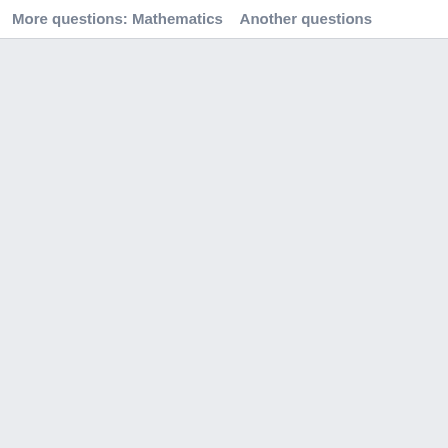More questions: Mathematics    Another questions